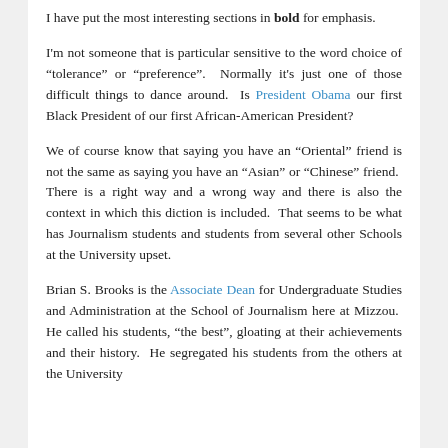I have put the most interesting sections in bold for emphasis.
I'm not someone that is particular sensitive to the word choice of “tolerance” or “preference”.  Normally it's just one of those difficult things to dance around.  Is President Obama our first Black President of our first African-American President?
We of course know that saying you have an “Oriental” friend is not the same as saying you have an “Asian” or “Chinese” friend.  There is a right way and a wrong way and there is also the context in which this diction is included.  That seems to be what has Journalism students and students from several other Schools at the University upset.
Brian S. Brooks is the Associate Dean for Undergraduate Studies and Administration at the School of Journalism here at Mizzou.  He called his students, “the best”, gloating at their achievements and their history.  He segregated his students from the others at the University...